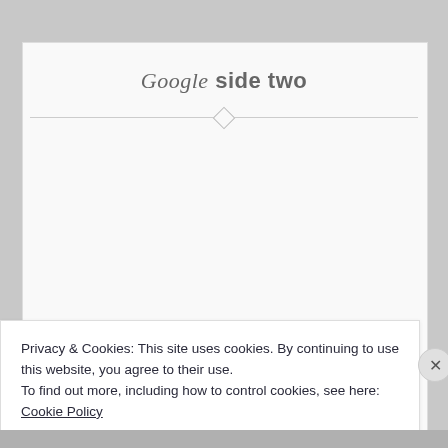Google side two
Privacy & Cookies: This site uses cookies. By continuing to use this website, you agree to their use.
To find out more, including how to control cookies, see here:
Cookie Policy
Close and accept